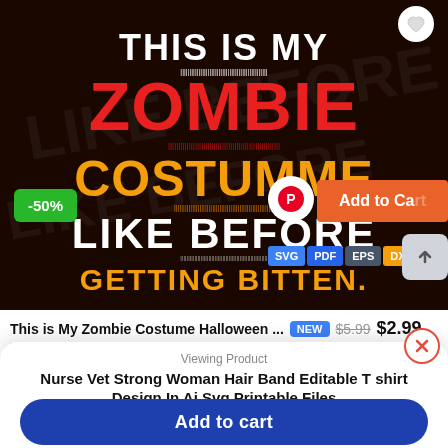[Figure (illustration): Dark Halloween-themed graphic with text: THIS IS MY ZOMBIE COSTUMME LIKE BEFORE GETTING BITTEN. White dripping text on top, red dripping ZOMBIE text, orange COSTUMME, white LIKE BEFORE, orange GETTING BITTEN. File format tags: SVG PDF EPS DXF PNG. -50% discount badge. Add to Cart button. Pinterest share button.]
This is My Zombie Costume Halloween ... NEW $5.99 $2.99
by Vectortshirtdesigns
Viewing Product
Nurse Vet Strong Woman Hair Band Editable T shirt Design In Ai Svg Printable Files
Price: $2.99
Add to cart